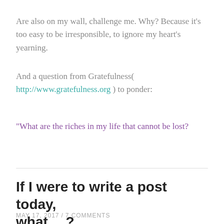Are also on my wall, challenge me. Why? Because it’s too easy to be irresponsible, to ignore my heart’s yearning.
And a question from Gratefulness( http://www.gratefulness.org ) to ponder:
“What are the riches in my life that cannot be lost?
If I were to write a post today, what …?
MAY 17, 2017 / 7 COMMENTS